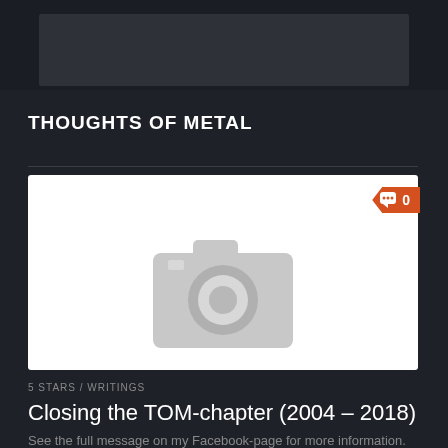[Figure (screenshot): Top navigation bar with dark background and a dark gray image/banner placeholder]
THOUGHTS OF METAL
[Figure (photo): White card with a gray camera placeholder icon in the center, and an orange comment badge showing '0' in the top-right corner]
5 STARS / WRITINGS
Closing the TOM-chapter (2004 – 2018)
See the full message on my Facebook-page for more information. Click HERE. ——— It's been very calm on this